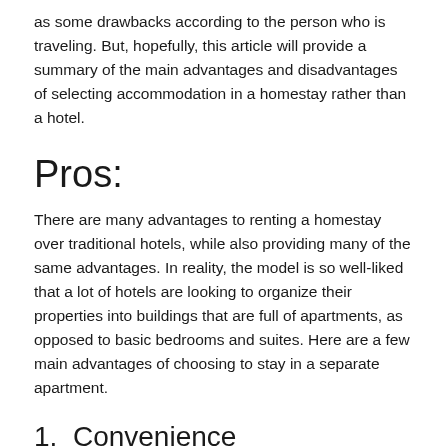as some drawbacks according to the person who is traveling. But, hopefully, this article will provide a summary of the main advantages and disadvantages of selecting accommodation in a homestay rather than a hotel.
Pros:
There are many advantages to renting a homestay over traditional hotels, while also providing many of the same advantages. In reality, the model is so well-liked that a lot of hotels are looking to organize their properties into buildings that are full of apartments, as opposed to basic bedrooms and suites. Here are a few main advantages of choosing to stay in a separate apartment.
1.  Convenience